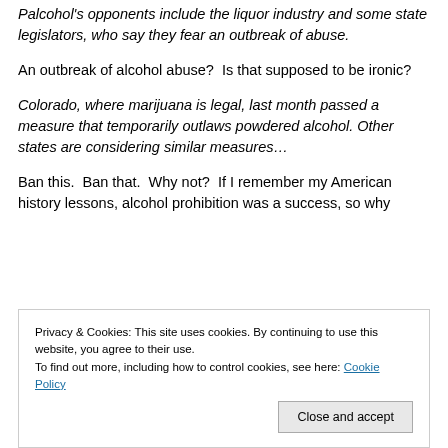Palcohol's opponents include the liquor industry and some state legislators, who say they fear an outbreak of abuse.
An outbreak of alcohol abuse?  Is that supposed to be ironic?
Colorado, where marijuana is legal, last month passed a measure that temporarily outlaws powdered alcohol. Other states are considering similar measures…
Ban this.  Ban that.  Why not?  If I remember my American history lessons, alcohol prohibition was a success, so why not bring it back?
Privacy & Cookies: This site uses cookies. By continuing to use this website, you agree to their use.
To find out more, including how to control cookies, see here: Cookie Policy